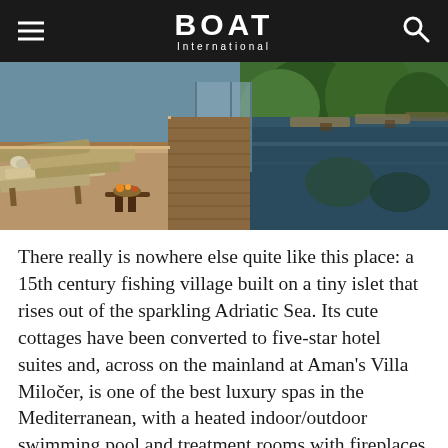BOAT International
[Figure (photo): Luxury resort swimming pool with lounge chairs and sun decks, overlooking a reflective pool area with trees and water in the background.]
There really is nowhere else quite like this place: a 15th century fishing village built on a tiny islet that rises out of the sparkling Adriatic Sea. Its cute cottages have been converted to five-star hotel suites and, across on the mainland at Aman's Villa Miločer, is one of the best luxury spas in the Mediterranean, with a heated indoor/outdoor swimming pool and treatment rooms with fireplaces for cosy winter pampering. Therapists make full use of the herbs that grow wild along this